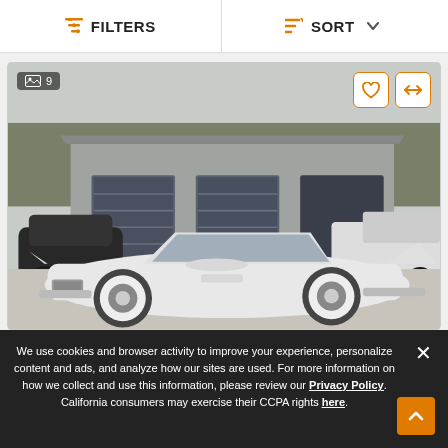FILTERS   SORT
[Figure (photo): White vintage convertible car (late 1950s Ford Thunderbird) parked on a concrete driveway in front of a large grey metal garage building. A black SUV and a white truck are visible in the background. Trees are visible behind the building. Image counter badge showing '9 images' in top-left corner. Heart (favorite) and compare icons in top-right corner.]
We use cookies and browser activity to improve your experience, personalize content and ads, and analyze how our sites are used. For more information on how we collect and use this information, please review our Privacy Policy. California consumers may exercise their CCPA rights here.